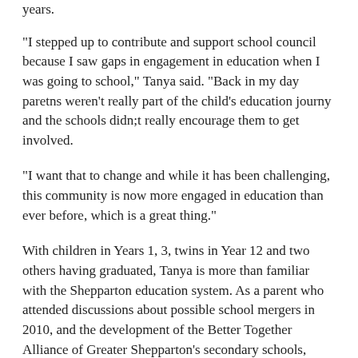years.
"I stepped up to contribute and support school council because I saw gaps in engagement in education when I was going to school," Tanya said. "Back in my day paretns weren't really part of the child's education journy and the schools didn;t really encourage them to get involved.
"I want that to change and while it has been challenging, this community is now more engaged in education than ever before, which is a great thing."
With children in Years 1, 3, twins in Year 12 and two others having graduated, Tanya is more than familiar with the Shepparton education system. As a parent who attended discussions about possible school mergers in 2010, and the development of the Better Together Alliance of Greater Shepparton's secondary schools, Tanya saw improvements in education delivery but not the extent of change she felt was needed.